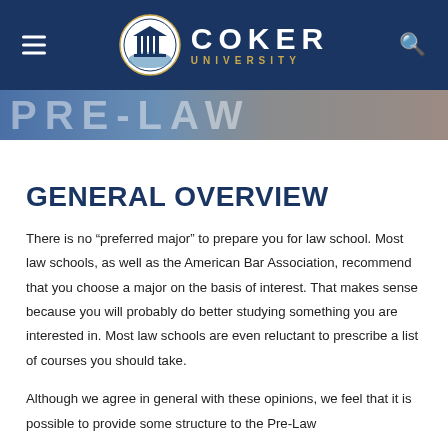COKER UNIVERSITY
[Figure (screenshot): Partial banner image showing PRE-LAW text over a gradient background]
GENERAL OVERVIEW
There is no “preferred major” to prepare you for law school. Most law schools, as well as the American Bar Association, recommend that you choose a major on the basis of interest. That makes sense because you will probably do better studying something you are interested in. Most law schools are even reluctant to prescribe a list of courses you should take.
Although we agree in general with these opinions, we feel that it is possible to provide some structure to the Pre-Law